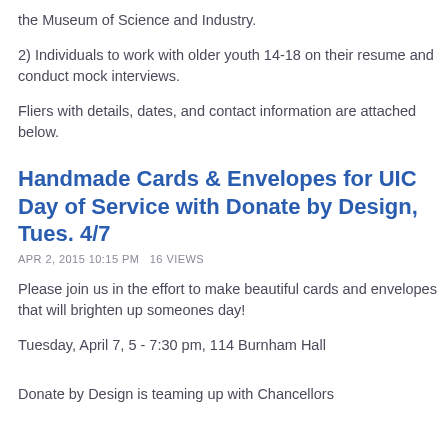the Museum of Science and Industry.
2) Individuals to work with older youth 14-18 on their resume and conduct mock interviews.
Fliers with details, dates, and contact information are attached below.
Handmade Cards & Envelopes for UIC Day of Service with Donate by Design, Tues. 4/7
APR 2, 2015 10:15 PM  16 VIEWS
Please join us in the effort to make beautiful cards and envelopes that will brighten up someones day!
Tuesday, April 7, 5 - 7:30 pm, 114 Burnham Hall
Donate by Design is teaming up with Chancellors